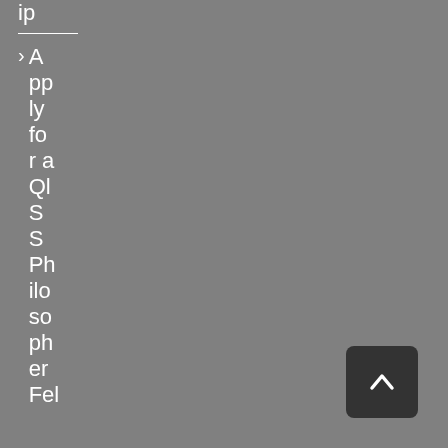ip
> Apply for a QLSS Philosopher Fel
[Figure (other): Scroll-to-top button with upward chevron arrow]